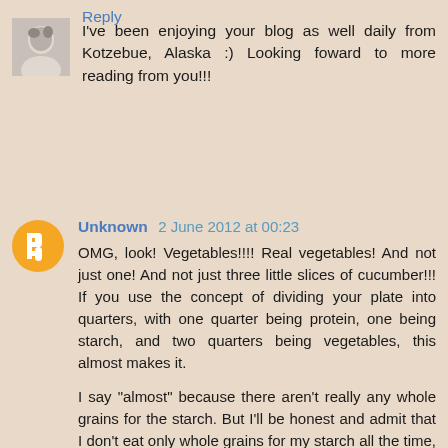I've been enjoying your blog as well daily from Kotzebue, Alaska :) Looking foward to more reading from you!!!
Reply
Unknown 2 June 2012 at 00:23
OMG, look! Vegetables!!!! Real vegetables! And not just one! And not just three little slices of cucumber!!! If you use the concept of dividing your plate into quarters, with one quarter being protein, one being starch, and two quarters being vegetables, this almost makes it.
I say "almost" because there aren't really any whole grains for the starch. But I'll be honest and admit that I don't eat only whole grains for my starch all the time, either.
I've been making "Coronation Chicken" for years without knowing that's what it was. :) I just always called it "curried chicken salad" and usually served it "cupped" in a couple of lettuce leaves. Or maybe stuffed in a tomato. But I think that, in view of her 60 years of public service, FIR